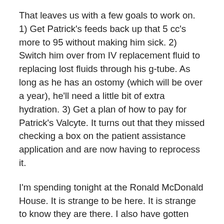That leaves us with a few goals to work on. 1) Get Patrick's feeds back up that 5 cc's more to 95 without making him sick. 2) Switch him over from IV replacement fluid to replacing lost fluids through his g-tube. As long as he has an ostomy (which will be over a year), he'll need a little bit of extra hydration. 3) Get a plan of how to pay for Patrick's Valcyte. It turns out that they missed checking a box on the patient assistance application and are now having to reprocess it.
I'm spending tonight at the Ronald McDonald House. It is strange to be here. It is strange to know they are there. I also have gotten quite used to going to bed with Patrick so staying up late to finish the laundry has